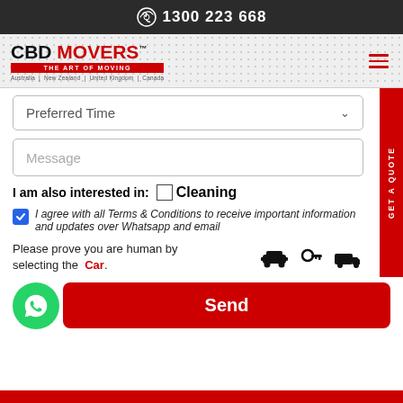1300 223 668
[Figure (logo): CBD Movers logo with tagline 'The Art of Moving' and countries: Australia | New Zealand | United Kingdom | Canada]
Preferred Time
Message
I am also interested in: Cleaning
I agree with all Terms & Conditions to receive important information and updates over Whatsapp and email
Please prove you are human by selecting the Car.
Send